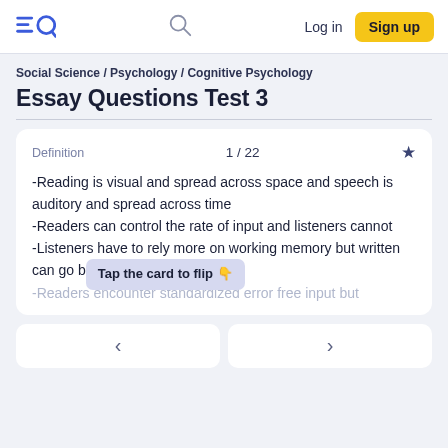EQ | Log in | Sign up
Social Science / Psychology / Cognitive Psychology
Essay Questions Test 3
Definition  1 / 22
-Reading is visual and spread across space and speech is auditory and spread across time
-Readers can control the rate of input and listeners cannot
-Listeners have to rely more on working memory but written can go b...
Tap the card to flip 👆
-Readers encounter standardized error free input but
< >